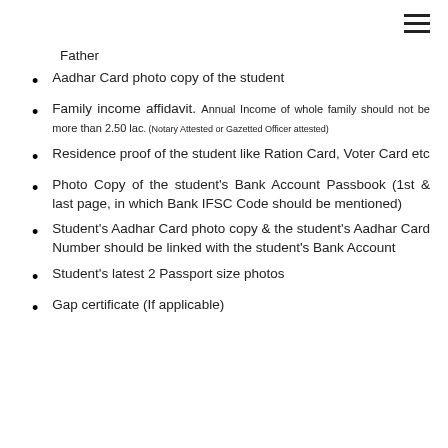Father
Aadhar Card photo copy of the student
Family income affidavit. Annual Income of whole family should not be more than 2.50 lac. (Notary Attested or Gazetted Officer attested)
Residence proof of the student like Ration Card, Voter Card etc
Photo Copy of the student's Bank Account Passbook (1st & last page, in which Bank IFSC Code should be mentioned)
Student's Aadhar Card photo copy & the student's Aadhar Card Number should be linked with the student's Bank Account
Student's latest 2 Passport size photos
Gap certificate (If applicable)